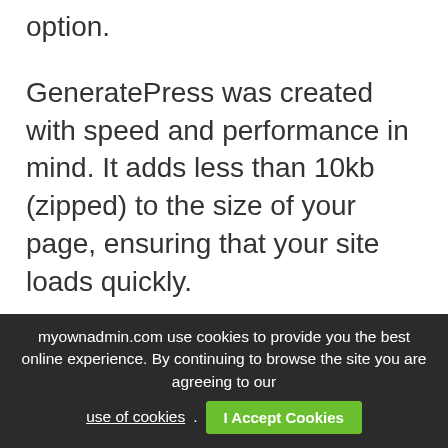option.
GeneratePress was created with speed and performance in mind. It adds less than 10kb (zipped) to the size of your page, ensuring that your site loads quickly.
GeneratePress works with all page builders, including Elementor, Beaver Builder, Divi, and Gutenberg.
Tom Usborne recently released the GenerateBlocks plugin, which provides powerful blocks for creating WordPress websites.
myownadmin.com use cookies to provide you the best online experience. By continuing to browse the site you are agreeing to our use of cookies. I Accept Cookies